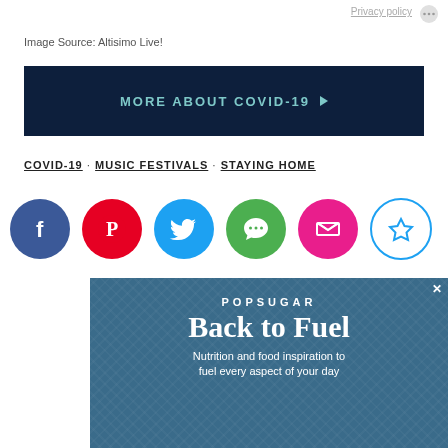Privacy policy
Image Source: Altisimo Live!
[Figure (other): Dark navy blue banner button with text 'MORE ABOUT COVID-19' and a right-pointing arrow]
COVID-19 · MUSIC FESTIVALS · STAYING HOME
[Figure (infographic): Row of social sharing icons: Facebook (blue), Pinterest (red), Twitter (blue), SMS/Chat (green), Email (pink), Bookmark/Star (outlined circle with star)]
[Figure (screenshot): POPSUGAR 'Back to Fuel' advertisement with food imagery and text 'Nutrition and food inspiration to fuel every aspect of your day']